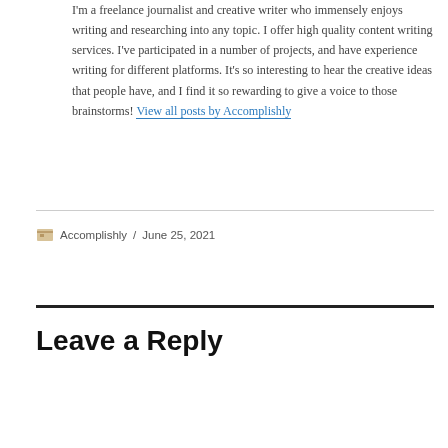I'm a freelance journalist and creative writer who immensely enjoys writing and researching into any topic. I offer high quality content writing services. I've participated in a number of projects, and have experience writing for different platforms. It's so interesting to hear the creative ideas that people have, and I find it so rewarding to give a voice to those brainstorms! View all posts by Accomplishly
Accomplishly / June 25, 2021
Leave a Reply